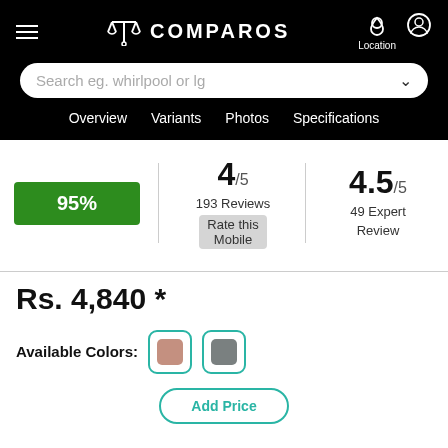COMPAROS
Search eg. whirlpool or lg
Overview  Variants  Photos  Specifications
95%
4/5
193 Reviews
Rate this Mobile
4.5/5
49 Expert Review
Rs. 4,840 *
Available Colors: